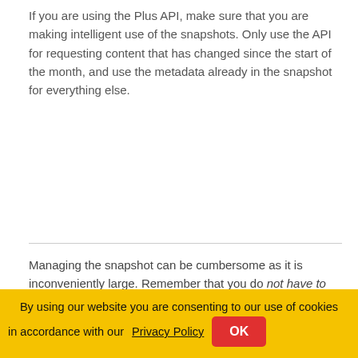If you are using the Plus API, make sure that you are making intelligent use of the snapshots. Only use the API for requesting content that has changed since the start of the month, and use the metadata already in the snapshot for everything else.
Managing the snapshot can be cumbersome as it is inconveniently large. Remember that you do not have to uncompress and unarchive the snapshot in order to use it. Most major programming languages have libraries that allow you to open and read files directly from a compressed archive. For example:
tarfile
By using our website you are consenting to our use of cookies in accordance with our Privacy Policy